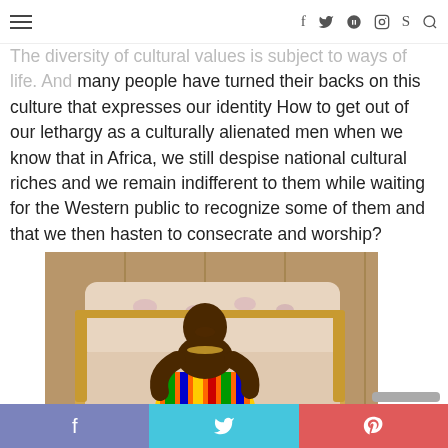Navigation bar with hamburger menu and social icons (f, Twitter, Pinterest, Instagram, Skype, Search)
The diversity of cultural values is subject to ways of life. And many people have turned their backs on this culture that expresses our identity How to get out of our lethargy as a culturally alienated men when we know that in Africa, we still despise national cultural riches and we remain indifferent to them while waiting for the Western public to recognize some of them and that we then hasten to consecrate and worship?
[Figure (photo): A woman wearing colorful kente cloth dress with gold jewelry, sitting on an ornate gold and floral-upholstered sofa/couch in what appears to be an interior setting.]
Social share buttons: Facebook, Twitter, Pinterest